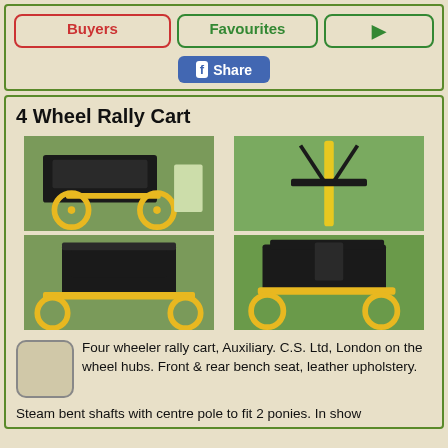Buyers | Favourites | >
Share (Facebook)
4 Wheel Rally Cart
[Figure (photo): Four photos of a yellow and black 4-wheel rally cart from various angles on green grass]
Four wheeler rally cart, Auxiliary. C.S. Ltd, London on the wheel hubs. Front & rear bench seat, leather upholstery.
Steam bent shafts with centre pole to fit 2 ponies. In show